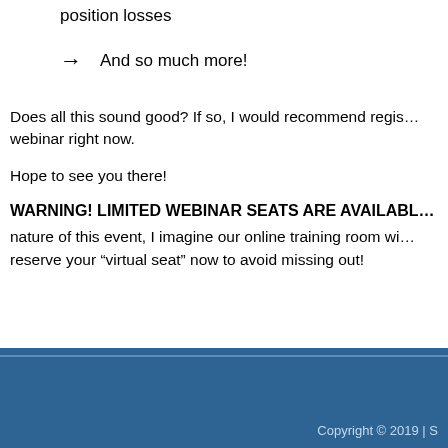position losses
And so much more!
Does all this sound good? If so, I would recommend registering for the webinar right now.
Hope to see you there!
WARNING! LIMITED WEBINAR SEATS ARE AVAILABLE! Due to the nature of this event, I imagine our online training room will fill up fast. Please reserve your “virtual seat” now to avoid missing out!
Copyright © 2019 | S